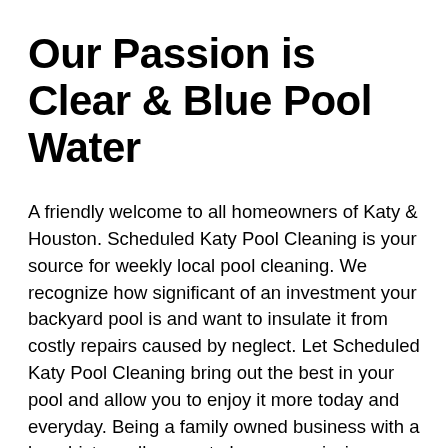Our Passion is Clear & Blue Pool Water
A friendly welcome to all homeowners of Katy & Houston. Scheduled Katy Pool Cleaning is your source for weekly local pool cleaning. We recognize how significant of an investment your backyard pool is and want to insulate it from costly repairs caused by neglect. Let Scheduled Katy Pool Cleaning bring out the best in your pool and allow you to enjoy it more today and everyday. Being a family owned business with a long history allows us to keep our mission statement clear - provide the most reliable & professional workmanship in the Katy. We have a passion for providing our city